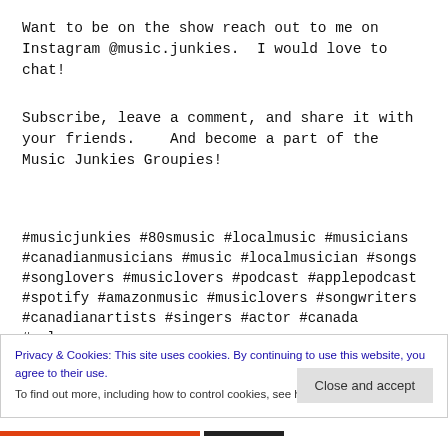Want to be on the show reach out to me on Instagram @music.junkies.  I would love to chat!
Subscribe, leave a comment, and share it with your friends.   And become a part of the Music Junkies Groupies!
#musicjunkies #80smusic #localmusic #musicians #canadianmusicians #music #localmusician #songs #songlovers #musiclovers #podcast #applepodcast #spotify #amazonmusic #musiclovers #songwriters #canadianartists #singers #actor #canada #calgary
Privacy & Cookies: This site uses cookies. By continuing to use this website, you agree to their use.
To find out more, including how to control cookies, see here: Cookie Policy